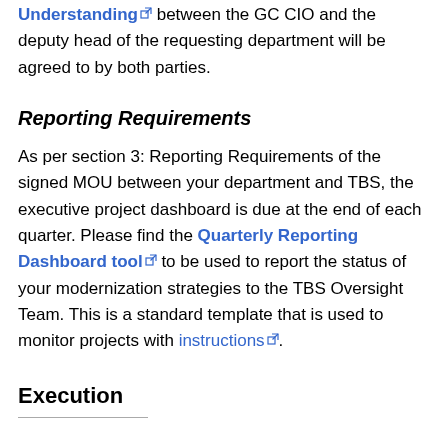Understanding between the GC CIO and the deputy head of the requesting department will be agreed to by both parties.
Reporting Requirements
As per section 3: Reporting Requirements of the signed MOU between your department and TBS, the executive project dashboard is due at the end of each quarter. Please find the Quarterly Reporting Dashboard tool to be used to report the status of your modernization strategies to the TBS Oversight Team. This is a standard template that is used to monitor projects with instructions.
Execution